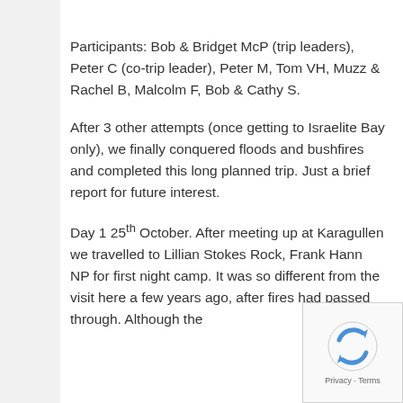Participants: Bob & Bridget McP (trip leaders), Peter C (co-trip leader), Peter M, Tom VH, Muzz & Rachel B, Malcolm F, Bob & Cathy S.
After 3 other attempts (once getting to Israelite Bay only), we finally conquered floods and bushfires and completed this long planned trip. Just a brief report for future interest.
Day 1 25th October. After meeting up at Karagullen we travelled to Lillian Stokes Rock, Frank Hann NP for first night camp. It was so different from the visit here a few years ago, after fires had passed through. Although the
[Figure (logo): reCAPTCHA logo with Privacy and Terms text]